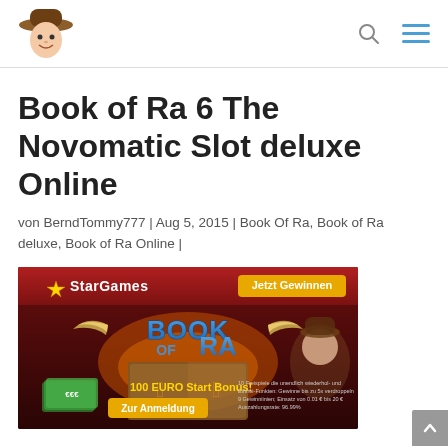Book of Ra website header with logo and navigation icons
Book of Ra 6 The Novomatic Slot deluxe Online
von BerndTommy777 | Aug 5, 2015 | Book Of Ra, Book of Ra deluxe, Book of Ra Online |
[Figure (photo): StarGames casino banner advertising Book of Ra slot game with 'Jetzt Gewinnen' button, Book of Ra logo with wings, fire effects, adventurer character, '100 EURO Start Bonus!' offer and 'Zur Anmeldung' button]